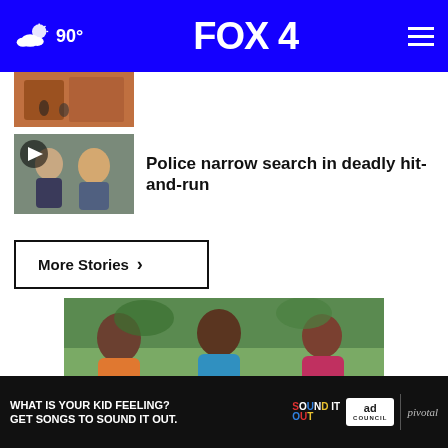FOX 4 — 90°
[Figure (photo): Thumbnail image: building exterior with people]
[Figure (photo): Video thumbnail: two people talking, play button overlay]
Police narrow search in deadly hit-and-run
More Stories ›
[Figure (photo): Photo of three women sitting outdoors conversing, with a close (x) button overlay]
[Figure (other): Advertisement banner: WHAT IS YOUR KID FEELING? GET SONGS TO SOUND IT OUT. — Sound It Out, Ad Council, pivotal]